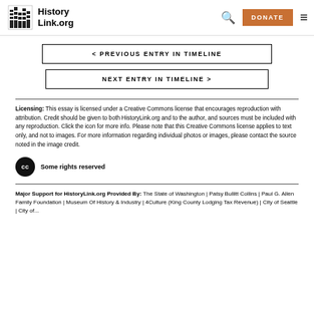HistoryLink.org | DONATE
< PREVIOUS ENTRY IN TIMELINE
NEXT ENTRY IN TIMELINE >
Licensing: This essay is licensed under a Creative Commons license that encourages reproduction with attribution. Credit should be given to both HistoryLink.org and to the author, and sources must be included with any reproduction. Click the icon for more info. Please note that this Creative Commons license applies to text only, and not to images. For more information regarding individual photos or images, please contact the source noted in the image credit.
[Figure (logo): Creative Commons CC logo circle with text 'Some rights reserved']
Major Support for HistoryLink.org Provided By: The State of Washington | Patsy Bullitt Collins | Paul G. Allen Family Foundation | Museum Of History & Industry | 4Culture (King County Lodging Tax Revenue) | City of Seattle | City of...